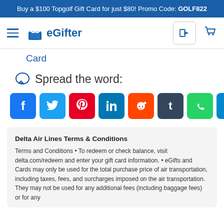Buy a $100 Topgolf Gift Card for just $80! Promo Code: GOLF822
[Figure (logo): eGifter logo with gift box icon and navigation bar including hamburger menu, login button, and cart icon]
Card
Spread the word:
[Figure (infographic): Row of 8 social media share buttons: Facebook, Twitter, Pinterest, LinkedIn, Reddit, Tumblr, WhatsApp, Telegram]
Delta Air Lines Terms & Conditions
Terms and Conditions • To redeem or check balance, visit delta.com/redeem and enter your gift card information. • eGifts and Cards may only be used for the total purchase price of air transportation, including taxes, fees, and surcharges imposed on the air transportation. They may not be used for any additional fees (including baggage fees) or for any